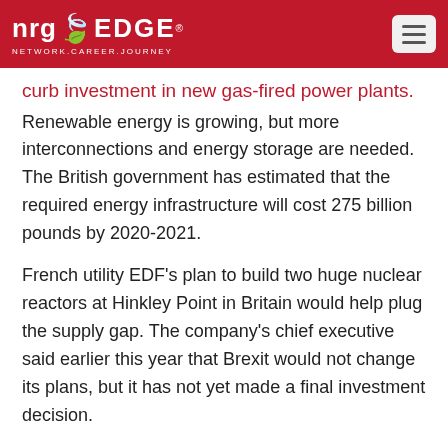nrgEDGE NETWORK.CAREER.JOURNEY
curb investment in new gas-fired power plants.
Renewable energy is growing, but more interconnections and energy storage are needed. The British government has estimated that the required energy infrastructure will cost 275 billion pounds by 2020-2021.
French utility EDF's plan to build two huge nuclear reactors at Hinkley Point in Britain would help plug the supply gap. The company's chief executive said earlier this year that Brexit would not change its plans, but it has not yet made a final investment decision.